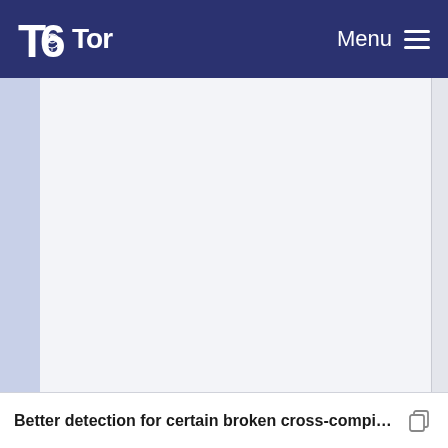Tor — Menu
[Figure (other): Tor Project website screenshot showing navigation bar with Tor logo and hamburger menu, with a large empty content area below]
Better detection for certain broken cross-compilin...